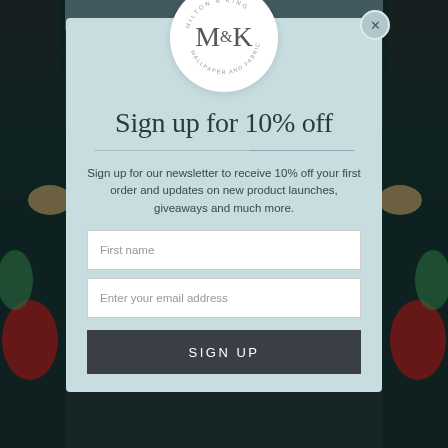[Figure (screenshot): Milton & King wallpaper website screenshot showing colorful botanical floral wallpaper in background with a sign-up modal popup overlay]
[Figure (logo): Milton & King circular logo with text 'MILTON & KING' around the top and 'WALLPAPER AND FABRIC CO.' around the bottom, with large M&K monogram in center]
Sign up for 10% off
Sign up for our newsletter to receive 10% off your first order and updates on new product launches, giveaways and much more.
First name
Enter your email address
SIGN UP